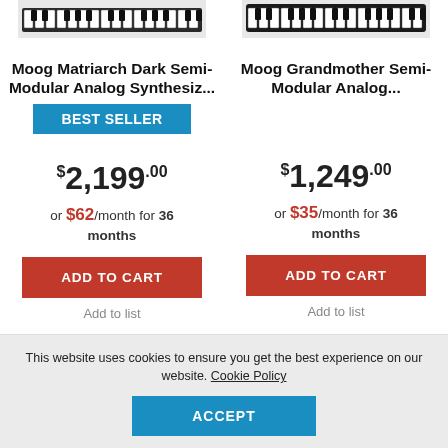[Figure (photo): Moog Matriarch Dark keyboard synthesizer top-cropped photo]
[Figure (photo): Moog Grandmother keyboard synthesizer top-cropped photo]
Moog Matriarch Dark Semi-Modular Analog Synthesiz...
BEST SELLER
$2,199.00
or $62/month for 36 months
ADD TO CART
Add to list
Moog Grandmother Semi-Modular Analog...
$1,249.00
or $35/month for 36 months
ADD TO CART
Add to list
This website uses cookies to ensure you get the best experience on our website. Cookie Policy
ACCEPT